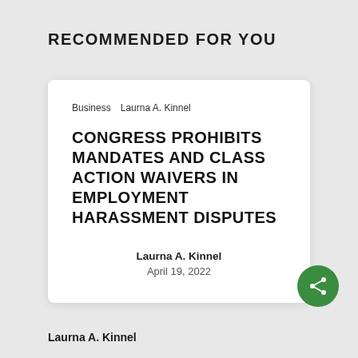RECOMMENDED FOR YOU
Business   Laurna A. Kinnel
CONGRESS PROHIBITS MANDATES AND CLASS ACTION WAIVERS IN EMPLOYMENT HARASSMENT DISPUTES
Laurna A. Kinnel
April 19, 2022
[Figure (other): Green circular share button with network/share icon]
Laurna A. Kinnel